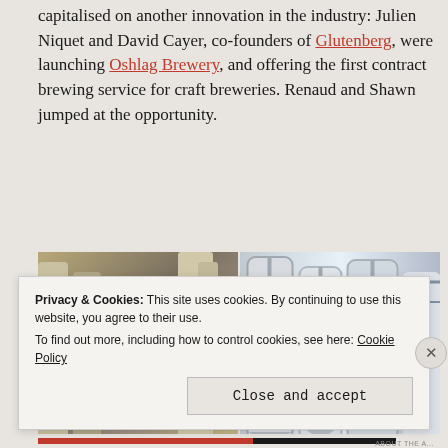capitalised on another innovation in the industry: Julien Niquet and David Cayer, co-founders of Glutenberg, were launching Oshlag Brewery, and offering the first contract brewing service for craft breweries. Renaud and Shawn jumped at the opportunity.
[Figure (photo): Two side-by-side brewery interior photos: left shows a person smiling among brewing tanks, right shows stainless steel brewing equipment and tanks.]
Privacy & Cookies: This site uses cookies. By continuing to use this website, you agree to their use.
To find out more, including how to control cookies, see here: Cookie Policy
Close and accept